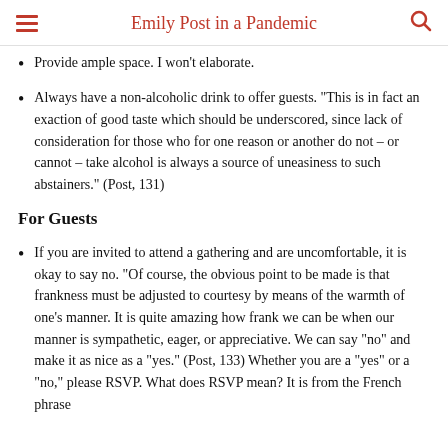Emily Post in a Pandemic
Provide ample space. I won't elaborate.
Always have a non-alcoholic drink to offer guests. “This is in fact an exaction of good taste which should be underscored, since lack of consideration for those who for one reason or another do not – or cannot – take alcohol is always a source of uneasiness to such abstainers.” (Post, 131)
For Guests
If you are invited to attend a gathering and are uncomfortable, it is okay to say no. “Of course, the obvious point to be made is that frankness must be adjusted to courtesy by means of the warmth of one's manner. It is quite amazing how frank we can be when our manner is sympathetic, eager, or appreciative. We can say “no” and make it as nice as a “yes.” (Post, 133) Whether you are a “yes” or a “no,” please RSVP. What does RSVP mean? It is from the French phrase